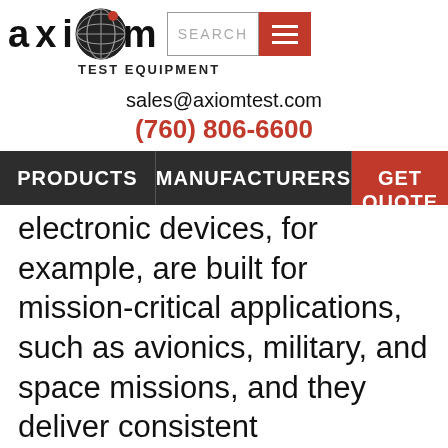[Figure (logo): Axiom Test Equipment logo with globe graphic, search bar, and hamburger menu button]
sales@axiomtest.com
(760) 806-6600
PRODUCTS | MANUFACTURERS | GET QUOTE
electronic devices, for example, are built for mission-critical applications, such as avionics, military, and space missions, and they deliver consistent performance over wide temperature ranges. But determining such capability usually requires evaluating performance across the temperature